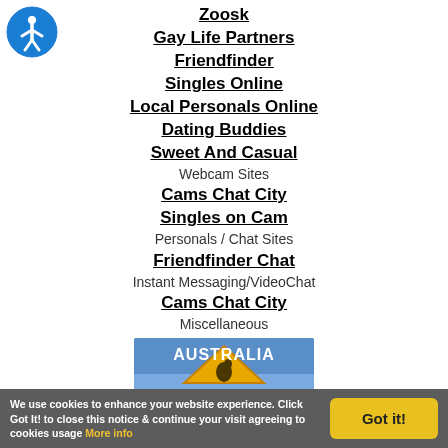[Figure (logo): Blue circular accessibility icon with white person figure, top-left corner]
Zoosk
Gay Life Partners
Friendfinder
Singles Online
Local Personals Online
Dating Buddies
Sweet And Casual
Webcam Sites
Cams Chat City
Singles on Cam
Personals / Chat Sites
Friendfinder Chat
Instant Messaging/VideoChat
Cams Chat City
Miscellaneous
The Onion
[Figure (photo): Australia travel image with yellow road sign and blue sky]
We use cookies to enhance your website experience. Click Got It! to close this notice & continue your visit agreeing to cookies usage More info